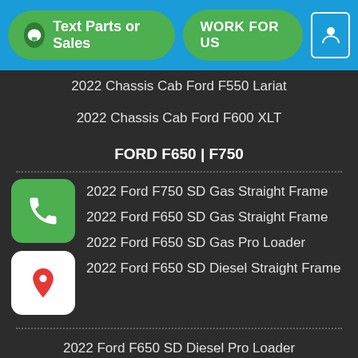Text Parts or Sales | WORK FOR US
2022 Chassis Cab Ford F550 Lariat
2022 Chassis Cab Ford F600 XLT
FORD F650 | F750
2022 Ford F750 SD Gas Straight Frame
2022 Ford F650 SD Gas Straight Frame
2022 Ford F650 SD Gas Pro Loader
2022 Ford F650 SD Diesel Straight Frame
2022 Ford F650 SD Diesel Pro Loader
2022 Ford F750 SD Diesel Straight Frame
2022 Ford F650 SD Diesel Tractor